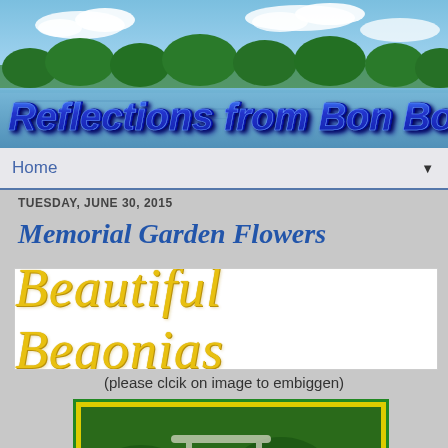[Figure (photo): Blog header banner showing 'Reflections from Bon Bon Pond' title text in blue/purple 3D style over a scenic lake/pond photo with trees and blue sky with clouds]
Home
TUESDAY, JUNE 30, 2015
Memorial Garden Flowers
[Figure (photo): Decorative text image reading 'Beautiful Begonias' in ornate yellow/gold italic script on white background]
(please clcik on image to embiggen)
[Figure (photo): Photo of yellow begonia flowers with large green leaves, white decorative bench visible in background, framed with yellow and green border]